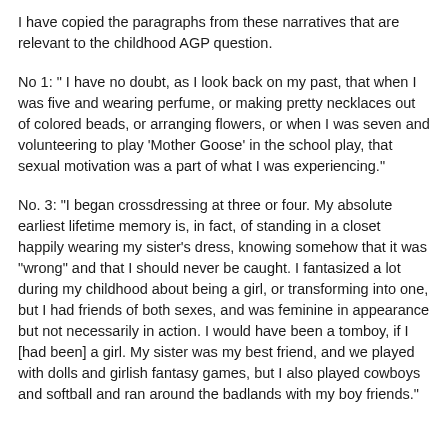I have copied the paragraphs from these narratives that are relevant to the childhood AGP question.
No 1: " I have no doubt, as I look back on my past, that when I was five and wearing perfume, or making pretty necklaces out of colored beads, or arranging flowers, or when I was seven and volunteering to play ‘Mother Goose’ in the school play, that sexual motivation was a part of what I was experiencing."
No. 3: “I began crossdressing at three or four. My absolute earliest lifetime memory is, in fact, of standing in a closet happily wearing my sister’s dress, knowing somehow that it was “wrong” and that I should never be caught. I fantasized a lot during my childhood about being a girl, or transforming into one, but I had friends of both sexes, and was feminine in appearance but not necessarily in action. I would have been a tomboy, if I [had been] a girl. My sister was my best friend, and we played with dolls and girlish fantasy games, but I also played cowboys and softball and ran around the badlands with my boy friends.”